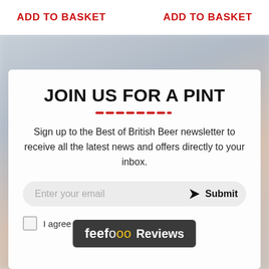ADD TO BASKET
ADD TO BASKET
JOIN US FOR A PINT
Sign up to the Best of British Beer newsletter to receive all the latest news and offers directly to your inbox.
Enter your email  Submit
I agree to... I am
[Figure (logo): Feefo Reviews badge — dark grey rounded rectangle with 'feefo' text in white, two yellow emoji eyes, and 'Reviews' in white bold text]